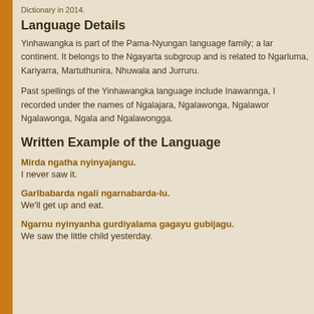Dictionary in 2014.
Language Details
Yinhawangka is part of the Pama-Nyungan language family; a lar continent. It belongs to the Ngayarta subgroup and is related to Ngarluma, Kariyarra, Martuthunira, Nhuwala and Jurruru.
Past spellings of the Yinhawangka language include Inawannga, recorded under the names of Ngalajara, Ngalawonga, Ngalawor Ngalawonga, Ngala and Ngalawongga.
Written Example of the Language
Mirda ngatha nyinyajangu.
I never saw it.
Garlbabarda ngali ngarnabarda-lu.
We'll get up and eat.
Ngarnu nyinyanha gurdiyalama gagayu gubijagu.
We saw the little child yesterday.